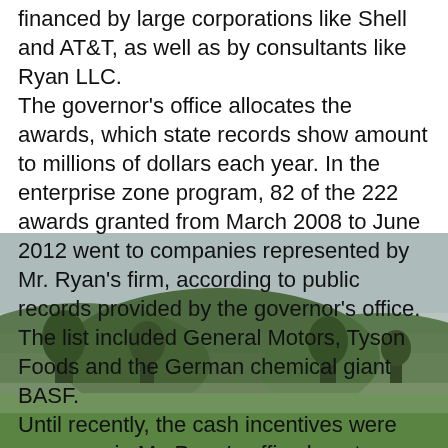financed by large corporations like Shell and AT&T, as well as by consultants like Ryan LLC.
The governor's office allocates the awards, which state records show amount to millions of dollars each year. In the enterprise zone program, 82 of the 222 awards granted from March 2008 to June 2012 went to companies represented by Mr. Ryan's firm, according to public records provided by the governor's office. The list included General Motors, Tyson Foods and the German chemical giant BASF.
Until recently, the cash incentives were overseen in Mr. Perry's office by a top aide, Roberto De Hoyos. In September, Mr. De Hoyos took a new job — at Ryan LLC.
Companies Gain, Schools Lose
Lines of new students show up each August at the public schools in Manor. The town is mostly rural, with fields of hay and cattle in every direction. Some of the students' families came to double up with relatives or friends, others were pushed outward by Austin's gentrification.
Downtown Manor is a couple of blocks lined with spots like Rangel's store and a smoke-filled convenience store. There are few doctors and no real place to buy groceries.
[Figure (photo): Blurred background photo of green rural landscape with hills, grass, and overcast sky visible in the lower portion of the page behind the text.]